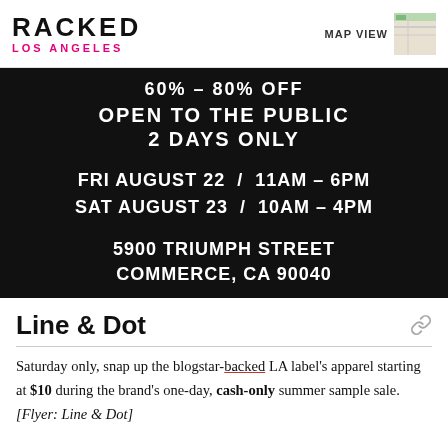RACKED LOS ANGELES
[Figure (photo): Dark flyer image showing sale details: '60% - 80% OFF / OPEN TO THE PUBLIC / 2 DAYS ONLY / FRI AUGUST 22 / 11AM - 6PM / SAT AUGUST 23 / 10AM - 4PM / 5900 TRIUMPH STREET / COMMERCE, CA 90040']
Line & Dot
Saturday only, snap up the blogstar-backed LA label's apparel starting at $10 during the brand's one-day, cash-only summer sample sale. [Flyer: Line & Dot]